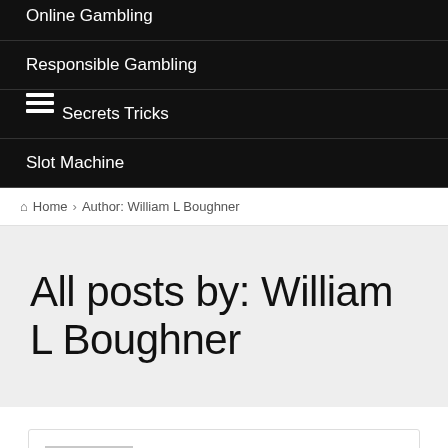Online Gambling
Responsible Gambling
Secrets Tricks
Slot Machine
Home › Author: William L Boughner
All posts by: William L Boughner
About William L Boughner